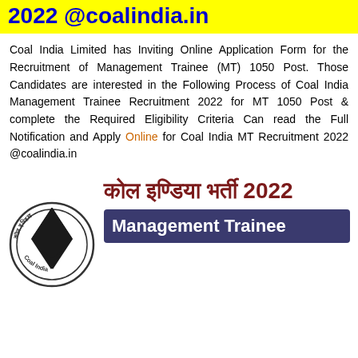2022 @coalindia.in
Coal India Limited has Inviting Online Application Form for the Recruitment of Management Trainee (MT) 1050 Post. Those Candidates are interested in the Following Process of Coal India Management Trainee Recruitment 2022 for MT 1050 Post & complete the Required Eligibility Criteria Can read the Full Notification and Apply Online for Coal India MT Recruitment 2022 @coalindia.in
[Figure (logo): Coal India Limited circular logo with a diamond/mining symbol in the center and Hindi and English text around the border. Beside it, Hindi text reading 'कोल इण्डिया भर्ती 2022' in dark red/maroon color, and a dark blue-purple banner reading 'Management Trainee' in white bold text.]